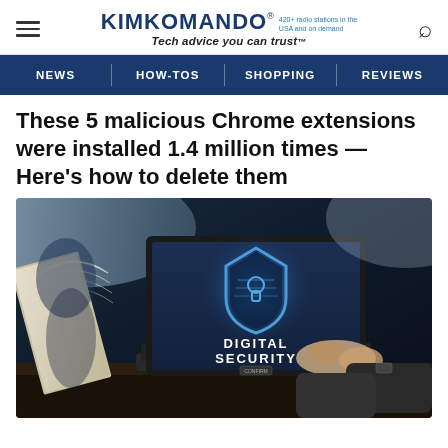KIMKOMANDO® 420+ radio stations in the USA and on demand Tech advice you can trust™
NEWS | HOW-TOS | SHOPPING | REVIEWS
These 5 malicious Chrome extensions were installed 1.4 million times — Here's how to delete them
[Figure (photo): Person typing on a laptop displaying a 'Digital Security' shield graphic on screen, with a book visible in the background on a dark desk.]